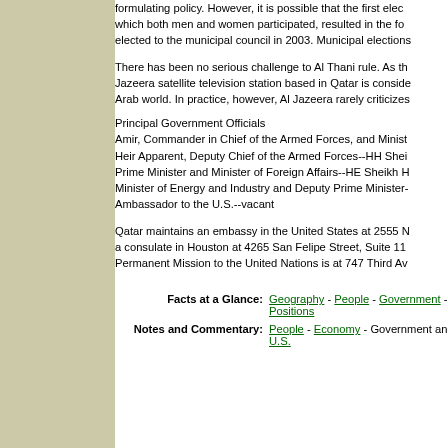formulating policy. However, it is possible that the first elec which both men and women participated, resulted in the fo elected to the municipal council in 2003. Municipal elections
There has been no serious challenge to Al Thani rule. As th Jazeera satellite television station based in Qatar is conside Arab world. In practice, however, Al Jazeera rarely criticizes
Principal Government Officials
Amir, Commander in Chief of the Armed Forces, and Minist Heir Apparent, Deputy Chief of the Armed Forces--HH Shei Prime Minister and Minister of Foreign Affairs--HE Sheikh H Minister of Energy and Industry and Deputy Prime Minister- Ambassador to the U.S.--vacant
Qatar maintains an embassy in the United States at 2555 N a consulate in Houston at 4265 San Felipe Street, Suite 11 Permanent Mission to the United Nations is at 747 Third Av
Facts at a Glance: Geography - People - Government - Positions
Notes and Commentary: People - Economy - Government an U.S.